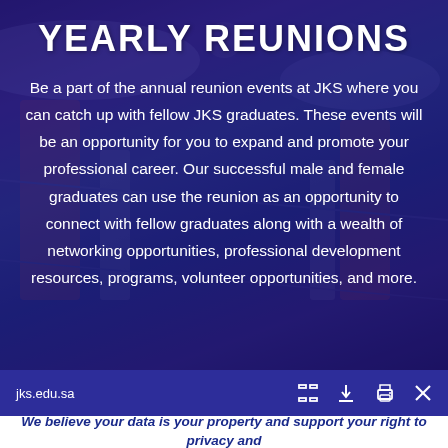YEARLY REUNIONS
Be a part of the annual reunion events at JKS where you can catch up with fellow JKS graduates. These events will be an opportunity for you to expand and promote your professional career. Our successful male and female graduates can use the reunion as an opportunity to connect with fellow graduates along with a wealth of networking opportunities, professional development resources, programs, volunteer opportunities, and more.
jks.edu.sa
We believe your data is your property and support your right to privacy and